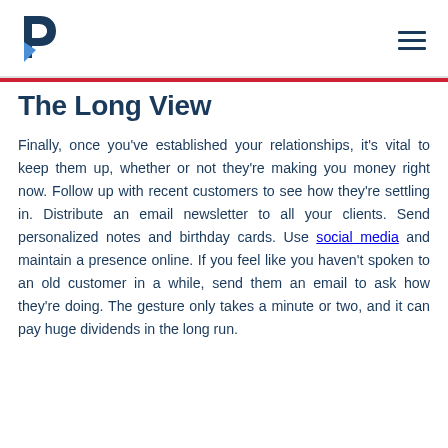[Pandora logo] [hamburger menu icon]
The Long View
Finally, once you've established your relationships, it's vital to keep them up, whether or not they're making you money right now. Follow up with recent customers to see how they're settling in. Distribute an email newsletter to all your clients. Send personalized notes and birthday cards. Use social media and maintain a presence online. If you feel like you haven't spoken to an old customer in a while, send them an email to ask how they're doing. The gesture only takes a minute or two, and it can pay huge dividends in the long run.